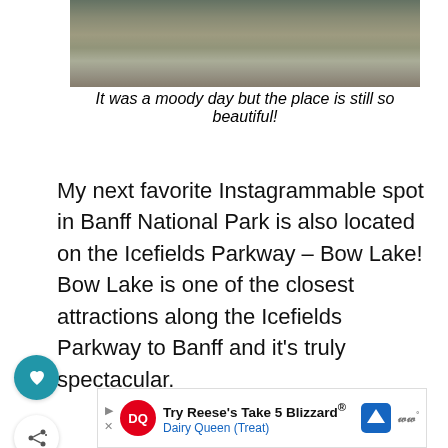[Figure (photo): Partially visible landscape photo showing a reflective body of water with rocks and shoreline, moody overcast lighting.]
It was a moody day but the place is still so beautiful!
My next favorite Instagrammable spot in Banff National Park is also located on the Icefields Parkway – Bow Lake! Bow Lake is one of the closest attractions along the Icefields Parkway to Banff and it’s truly spectacular.
[Figure (infographic): Heart/like button icon (teal circle with white heart) and share button icon (white circle with share symbol)]
[Figure (infographic): Advertisement banner: Dairy Queen logo, text 'Try Reese’s Take 5 Blizzard® Dairy Queen (Treat)', blue navigation icon, waze-style icon]